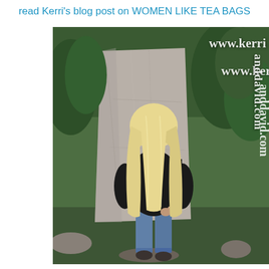read Kerri's blog post on WOMEN LIKE TEA BAGS
[Figure (photo): Woman with long blonde hair, wearing black jacket and blue jeans, standing with her back to the camera in front of a large granite boulder with green trees in the background. Watermark text 'www.kerri anddavid.com' overlaid on the right side of the image.]